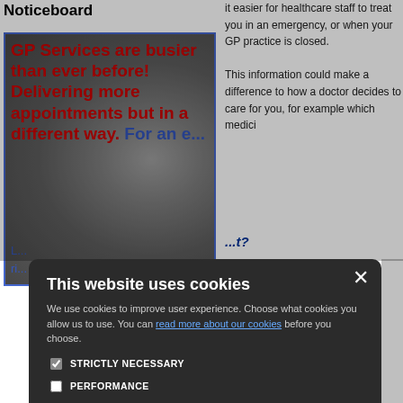Noticeboard
[Figure (screenshot): NHS Noticeboard box with image of stethoscope and red bold text: 'GP Services are busier than ever before! Delivering more appointments but in a different way. For an e... L... ri...']
it easier for healthcare staff to treat you in an emergency, or when your GP practice is closed.

This information could make a difference to how a doctor decides to care for you, for example which medici...
...t?
staff involved in your c...
...y if I have one?
opulation of England
y Care Records have
your GP
...ave one?
ulsory. If you choose
and bring it along to th...
...ion
For further information visit the NHS Ca...
[Figure (screenshot): Cookie consent modal dialog on dark background. Title: 'This website uses cookies'. Body text: 'We use cookies to improve user experience. Choose what cookies you allow us to use. You can read more about our cookies before you choose.' Checkboxes: STRICTLY NECESSARY (checked), PERFORMANCE, TARGETING, FUNCTIONALITY. Buttons: ACCEPT ALL (green), DECLINE ALL (outline). Close X button top right.]